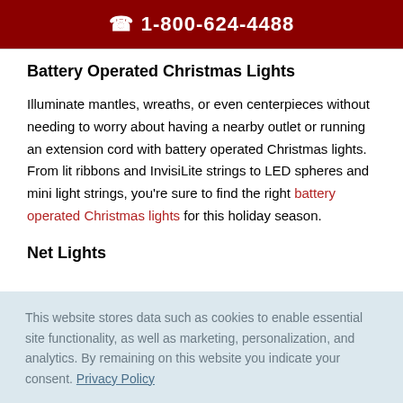☎ 1-800-624-4488
Battery Operated Christmas Lights
Illuminate mantles, wreaths, or even centerpieces without needing to worry about having a nearby outlet or running an extension cord with battery operated Christmas lights. From lit ribbons and InvisiLite strings to LED spheres and mini light strings, you're sure to find the right battery operated Christmas lights for this holiday season.
Net Lights
This website stores data such as cookies to enable essential site functionality, as well as marketing, personalization, and analytics. By remaining on this website you indicate your consent. Privacy Policy